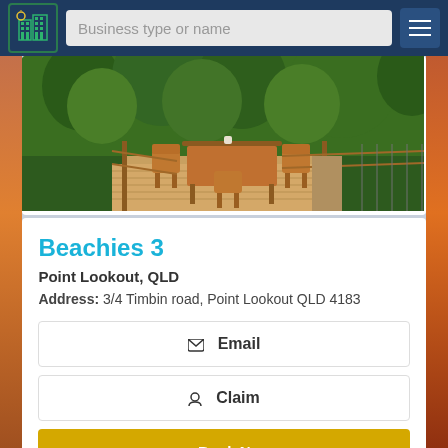Business type or name
[Figure (photo): Outdoor deck with wooden dining table and chairs surrounded by lush tropical greenery]
Beachies 3
Point Lookout, QLD
Address: 3/4 Timbin road, Point Lookout QLD 4183
Email
Claim
Book N...